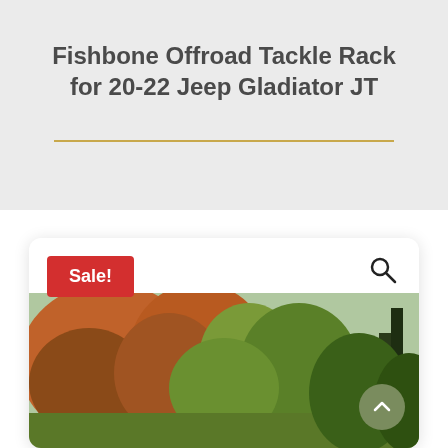Fishbone Offroad Tackle Rack for 20-22 Jeep Gladiator JT
[Figure (screenshot): Product listing card with red 'Sale!' badge in top-left corner, a search icon in the top-right, and a partially visible outdoor/autumn foliage scene product image below. A green scroll-to-top button with a chevron icon is overlaid at the bottom-right.]